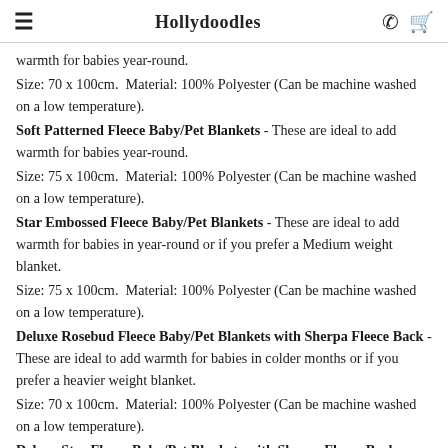Hollydoodles
warmth for babies year-round.
Size: 70 x 100cm.  Material: 100% Polyester (Can be machine washed on a low temperature).
Soft Patterned Fleece Baby/Pet Blankets - These are ideal to add warmth for babies year-round.
Size: 75 x 100cm.  Material: 100% Polyester (Can be machine washed on a low temperature).
Star Embossed Fleece Baby/Pet Blankets - These are ideal to add warmth for babies in year-round or if you prefer a Medium weight blanket.
Size: 75 x 100cm.  Material: 100% Polyester (Can be machine washed on a low temperature).
Deluxe Rosebud Fleece Baby/Pet Blankets with Sherpa Fleece Back - These are ideal to add warmth for babies in colder months or if you prefer a heavier weight blanket.
Size: 70 x 100cm.  Material: 100% Polyester (Can be machine washed on a low temperature).
Deluxe Star Fleece Baby/Pet Blankets with Sherpa Fleece Back - These are ideal to add warmth for babies in colder